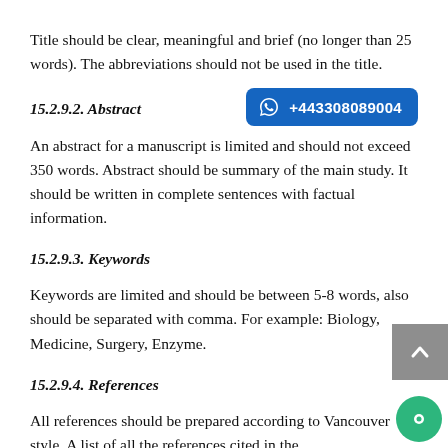Title should be clear, meaningful and brief (no longer than 25 words). The abbreviations should not be used in the title.
15.2.9.2. Abstract
An abstract for a manuscript is limited and should not exceed 350 words. Abstract should be summary of the main study. It should be written in complete sentences with factual information.
15.2.9.3. Keywords
Keywords are limited and should be between 5-8 words, also should be separated with comma. For example: Biology, Medicine, Surgery, Enzyme.
15.2.9.4. References
All references should be prepared according to Vancouver style. A list of all the references cited in the